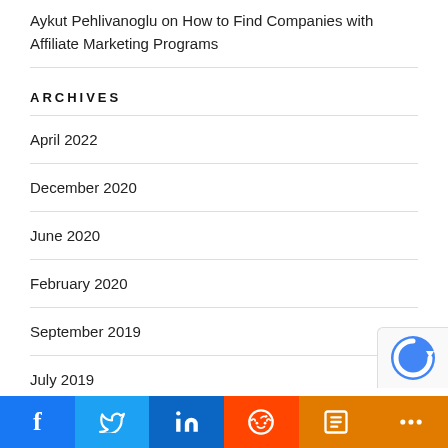Aykut Pehlivanoglu on How to Find Companies with Affiliate Marketing Programs
ARCHIVES
April 2022
December 2020
June 2020
February 2020
September 2019
July 2019